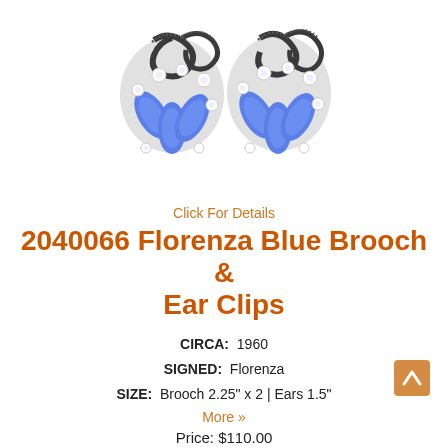[Figure (photo): Two ornate vintage earring ear clips with blue marquise-shaped stones and clear rhinestones set in dark gunmetal-toned metal, arranged side by side on a white background.]
Click For Details
2040066 Florenza Blue Brooch & Ear Clips
CIRCA:  1960
SIGNED:  Florenza
SIZE:  Brooch 2.25" x 2 | Ears 1.5"
More »
Price: $110.00